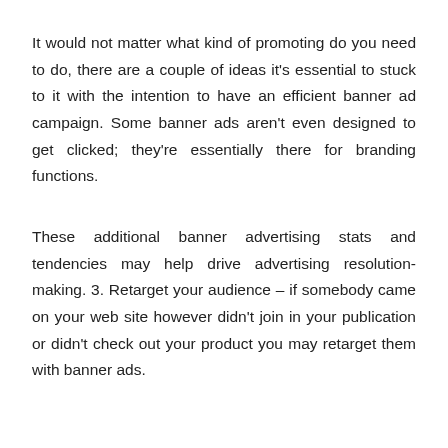It would not matter what kind of promoting do you need to do, there are a couple of ideas it's essential to stuck to it with the intention to have an efficient banner ad campaign. Some banner ads aren't even designed to get clicked; they're essentially there for branding functions.
These additional banner advertising stats and tendencies may help drive advertising resolution-making. 3. Retarget your audience – if somebody came on your web site however didn't join in your publication or didn't check out your product you may retarget them with banner ads.